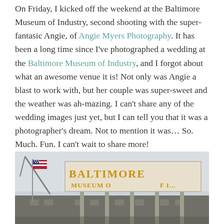On Friday, I kicked off the weekend at the Baltimore Museum of Industry, second shooting with the super-fantasic Angie, of Angie Myers Photography. It has been a long time since I've photographed a wedding at the Baltimore Museum of Industry, and I forgot about what an awesome venue it is! Not only was Angie a blast to work with, but her couple was super-sweet and the weather was ah-mazing. I can't share any of the wedding images just yet, but I can tell you that it was a photographer's dream. Not to mention it was… So. Much. Fun. I can't wait to share more!
[Figure (photo): Exterior photograph of the Baltimore Museum of Industry building with its large golden sign on poles reading 'Baltimore Museum of Industry', overcast sky, an American flag on the left, and a industrial building in the background.]